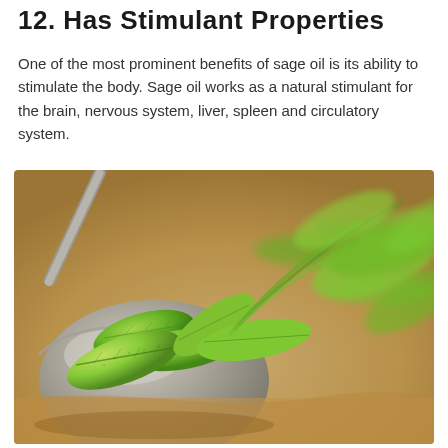12. Has Stimulant Properties
One of the most prominent benefits of sage oil is its ability to stimulate the body. Sage oil works as a natural stimulant for the brain, nervous system, liver, spleen and circulatory system.
[Figure (photo): Close-up photograph of fresh sage leaves in a metal mortar or scoop, resting on a sandy/wooden surface. The sage leaves are bright green and the background shows blurred sage stems.]